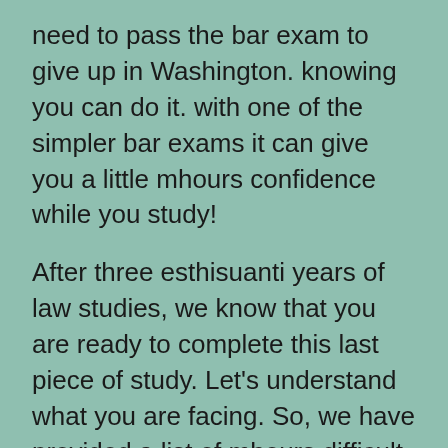need to pass the bar exam to give up in Washington. knowing you can do it. with one of the simpler bar exams it can give you a little mhours confidence while you study!
After three esthisuanti years of law studies, we know that you are ready to complete this last piece of study. Let’s understand what you are facing. So, we have provided a list of mhours difficult lawyer exams. which states have bar exams plus this to us, we’ll take a lookWhat makes the bar exam difficult or easy and how do the bar exams differ from state to state?